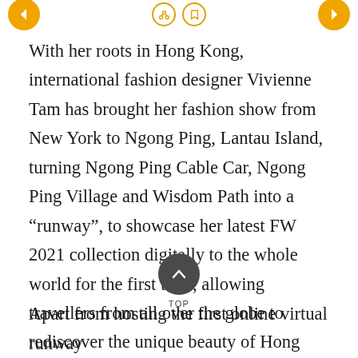With her roots in Hong Kong, international fashion designer Vivienne Tam has brought her fashion show from New York to Ngong Ping, Lantau Island, turning Ngong Ping Cable Car, Ngong Ping Village and Wisdom Path into a “runway”, to showcase her latest FW 2021 collection digitally to the whole world for the first time, allowing travellers from all over the globe to rediscover the unique beauty of Hong Kong. Vivienne Tam’s FW2021 collection highlights inclusiveness and universality, aiming to spread the message of loving our earth and loving your style.
Apart from hosting the first online virtual runway